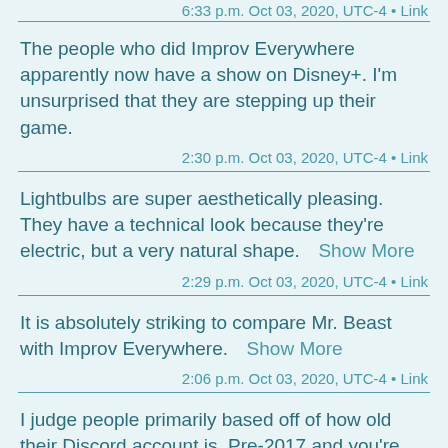6:33 p.m. Oct 03, 2020, UTC-4 • Link
The people who did Improv Everywhere apparently now have a show on Disney+. I'm unsurprised that they are stepping up their game.
2:30 p.m. Oct 03, 2020, UTC-4 • Link
Lightbulbs are super aesthetically pleasing. They have a technical look because they're electric, but a very natural shape.  Show More
2:29 p.m. Oct 03, 2020, UTC-4 • Link
It is absolutely striking to compare Mr. Beast with Improv Everywhere.  Show More
2:06 p.m. Oct 03, 2020, UTC-4 • Link
I judge people primarily based off of how old their Discord account is. Pre-2017 and you're instantly